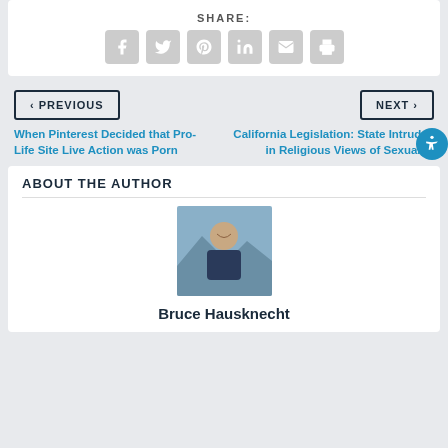SHARE:
[Figure (infographic): Social share buttons: Facebook, Twitter, Pinterest, LinkedIn, Email, Print]
< PREVIOUS
NEXT >
When Pinterest Decided that Pro-Life Site Live Action was Porn
California Legislation: State Intrudes in Religious Views of Sexuality
ABOUT THE AUTHOR
[Figure (photo): Headshot of Bruce Hausknecht, a man smiling outdoors with mountains in background]
Bruce Hausknecht